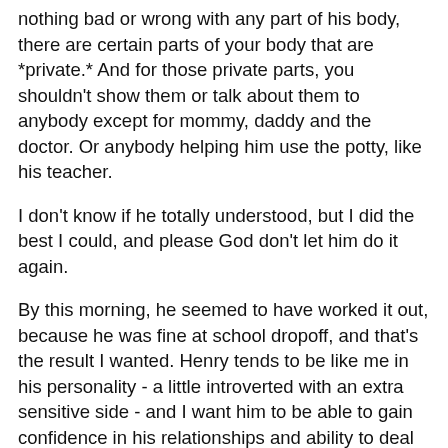nothing bad or wrong with any part of his body, there are certain parts of your body that are *private.* And for those private parts, you shouldn't show them or talk about them to anybody except for mommy, daddy and the doctor. Or anybody helping him use the potty, like his teacher.
I don't know if he totally understood, but I did the best I could, and please God don't let him do it again.
By this morning, he seemed to have worked it out, because he was fine at school dropoff, and that's the result I wanted. Henry tends to be like me in his personality - a little introverted with an extra sensitive side - and I want him to be able to gain confidence in his relationships and ability to deal with things on his own. Certainly, there are going to be many things that arise in his life that will require parental intervention; but to the extent that little awkward things come up, I want him to feel that he can come to us, certainly, but that he can deal with the repurcussions on his own and find his way back to a comfortable routine. I lacked that as a child, and still struggle with it as an adult. I don't want Hank to feel like he needs me to swoop in all the time - he does a